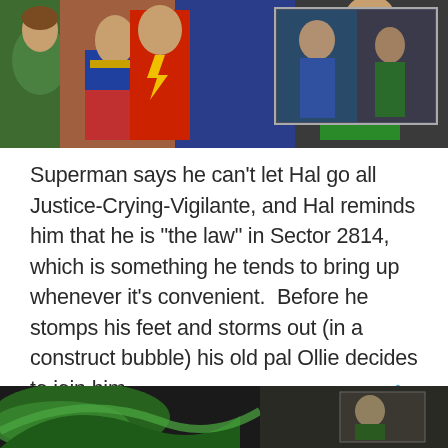[Figure (illustration): Comic book artwork showing superheroes including Wonder Woman, Superman (in blue), and Green Lantern (in green), with an inset panel of additional figures]
Superman says he can't let Hal go all Justice-Crying-Vigilante, and Hal reminds him that he is “the law” in Sector 2814, which is something he tends to bring up whenever it’s convenient. Before he stomps his feet and storms out (in a construct bubble) his old pal Ollie decides to join him.
[Figure (illustration): Partial view of comic book artwork at the bottom of the page showing green costume elements]